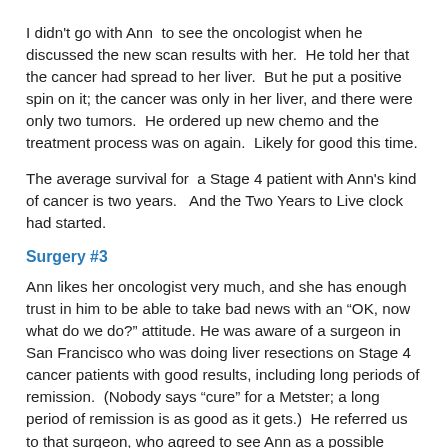I didn't go with Ann  to see the oncologist when he discussed the new scan results with her.  He told her that the cancer had spread to her liver.  But he put a positive spin on it; the cancer was only in her liver, and there were only two tumors.  He ordered up new chemo and the treatment process was on again.  Likely for good this time.
The average survival for  a Stage 4 patient with Ann's kind of cancer is two years.   And the Two Years to Live clock had started.
Surgery #3
Ann likes her oncologist very much, and she has enough trust in him to be able to take bad news with an “OK, now what do we do?” attitude. He was aware of a surgeon in San Francisco who was doing liver resections on Stage 4 cancer patients with good results, including long periods of remission.  (Nobody says “cure” for a Metster; a long period of remission is as good as it gets.)  He referred us to that surgeon, who agreed to see Ann as a possible surgical